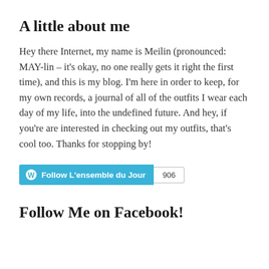A little about me
Hey there Internet, my name is Meilin (pronounced: MAY-lin – it's okay, no one really gets it right the first time), and this is my blog. I'm here in order to keep, for my own records, a journal of all of the outfits I wear each day of my life, into the undefined future. And hey, if you're are interested in checking out my outfits, that's cool too. Thanks for stopping by!
[Figure (other): WordPress Follow button widget showing 'Follow L'ensemble du Jour' in teal with follower count badge showing 906]
Follow Me on Facebook!